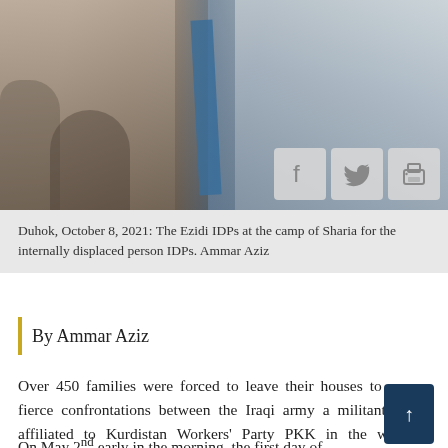[Figure (photo): Photo of Ezidi IDPs at the camp of Sharia with social media share icons (Facebook, Twitter, Print) overlaid in the bottom right corner]
Duhok, October 8, 2021: The Ezidi IDPs at the camp of Sharia for the internally displaced person IDPs. Ammar Aziz
By Ammar Aziz
Over 450 families were forced to leave their houses to escape fierce confrontations between the Iraqi army a militant group affiliated to Kurdistan Workers' Party PKK in the war-torn Shingal west of Ninewa province, local officials said.
On May 2nd early in the morning, the first day of